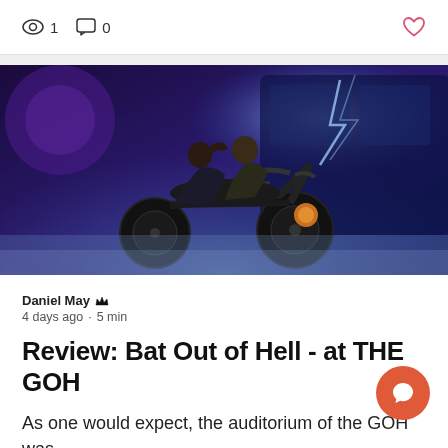1  0  ♥
[Figure (photo): Two performers on a motorcycle on a darkly lit stage with blue/purple lighting and mist. One performer leans against the other who sits on the motorcycle.]
Daniel May 👑
4 days ago · 5 min
Review: Bat Out of Hell - at THE GOH
As one would expect, the auditorium of the GOH was